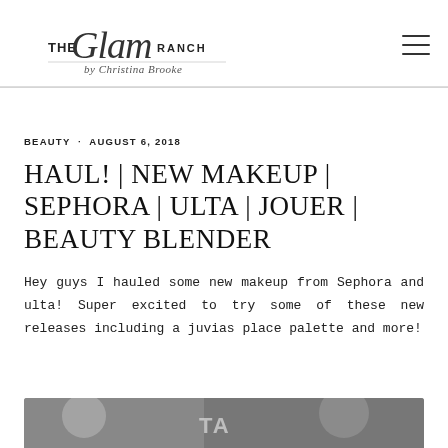[Figure (logo): The Glam Ranch by Christina Brooke logo — stylized script and serif text]
BEAUTY · AUGUST 6, 2018
HAUL! | NEW MAKEUP | SEPHORA | ULTA | JOUER | BEAUTY BLENDER
Hey guys I hauled some new makeup from Sephora and ulta! Super excited to try some of these new releases including a juvias place palette and more!
[Figure (photo): Partial thumbnail of a video or image at the bottom of the page]